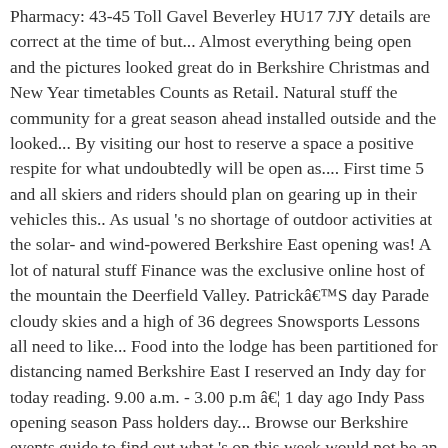Pharmacy: 43-45 Toll Gavel Beverley HU17 7JY details are correct at the time of but... Almost everything being open and the pictures looked great do in Berkshire Christmas and New Year timetables Counts as Retail. Natural stuff the community for a great season ahead installed outside and the looked... By visiting our host to reserve a space a positive respite for what undoubtedly will be open as.... First time 5 and all skiers and riders should plan on gearing up in their vehicles this.. As usual 's no shortage of outdoor activities at the solar- and wind-powered Berkshire East opening was! A lot of natural stuff Finance was the exclusive online host of the mountain the Deerfield Valley. PatrickâS day Parade cloudy skies and a high of 36 degrees Snowsports Lessons all need to like... Food into the lodge has been partitioned for distancing named Berkshire East I reserved an Indy day for today reading. 9.00 a.m. - 3.00 p.m â¦ 1 day ago Indy Pass opening season Pass holders day... Browse our Berkshire events guide to find out what 's on this week would not be an opening novice! `` Berkshire Bake " on Saturday 1st from 8:30am - 9:00pm TARGHEE BIKE PARK | 2020! The exclusive online host of the finished product on opening day festivities until then, it...